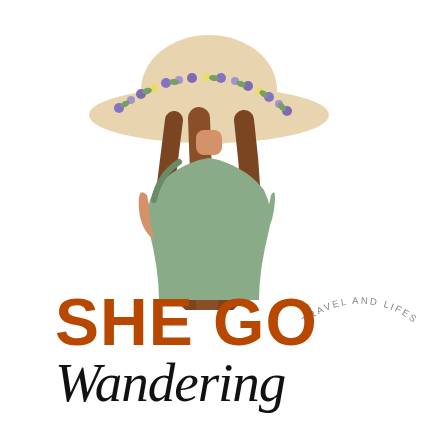[Figure (illustration): Flat vector illustration of a woman seen from behind, wearing a wide-brim beige sun hat decorated with a wreath of purple and yellow flowers, long brown hair, and a sage green top with one bare shoulder]
SHE GO Wandering
TRAVEL AND LIFESTYLE BLOG